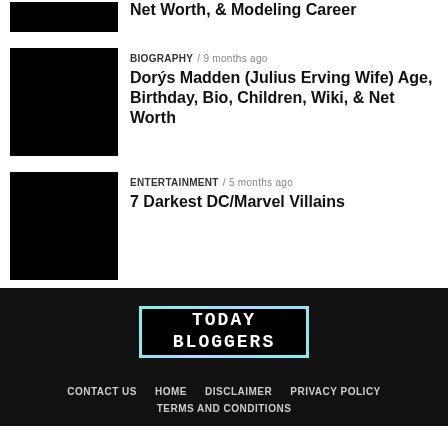[Figure (photo): Partial black thumbnail image at top]
Net Worth, & Modeling Career
[Figure (photo): Black thumbnail image for Dorys Madden article]
BIOGRAPHY / 9 months ago
Dorýs Madden (Julius Erving Wife) Age, Birthday, Bio, Children, Wiki, & Net Worth
[Figure (photo): Black thumbnail image for DC/Marvel Villains article]
ENTERTAINMENT / 5 months ago
7 Darkest DC/Marvel Villains
[Figure (logo): Today Bloggers logo with gradient border]
CONTACT US  HOME  DISCLAIMER  PRIVACY POLICY  TERMS AND CONDITIONS